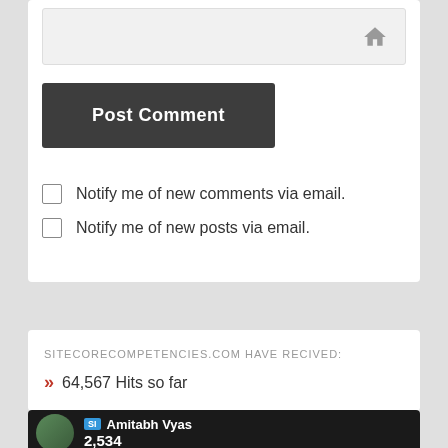(URL/website input bar with home icon)
Post Comment
Notify me of new comments via email.
Notify me of new posts via email.
SITECORECOMPETENCIES.COM HAVE RECIVED:
» 64,567 Hits so far
[Figure (photo): Profile photo of Amitabh Vyas with name and score 2,534 shown on dark background overlay]